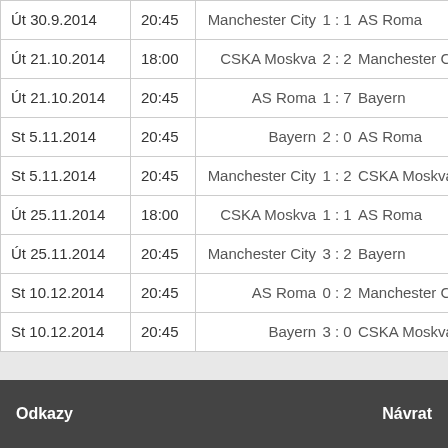| Date | Time | Match |
| --- | --- | --- |
| Út 30.9.2014 | 20:45 | Manchester City  1 : 1  AS Roma |
| Út 21.10.2014 | 18:00 | CSKA Moskva  2 : 2  Manchester City |
| Út 21.10.2014 | 20:45 | AS Roma  1 : 7  Bayern |
| St 5.11.2014 | 20:45 | Bayern  2 : 0  AS Roma |
| St 5.11.2014 | 20:45 | Manchester City  1 : 2  CSKA Moskva |
| Út 25.11.2014 | 18:00 | CSKA Moskva  1 : 1  AS Roma |
| Út 25.11.2014 | 20:45 | Manchester City  3 : 2  Bayern |
| St 10.12.2014 | 20:45 | AS Roma  0 : 2  Manchester City |
| St 10.12.2014 | 20:45 | Bayern  3 : 0  CSKA Moskva |
Odkazy    Návrat